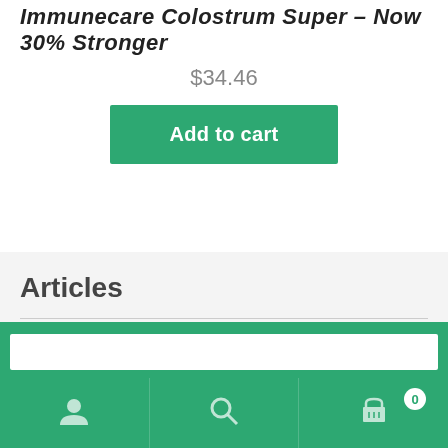Immunecare Colostrum Super – Now 30% Stronger
$34.46
Add to cart
Articles
Top Tips to help you avoid toxic chemicals